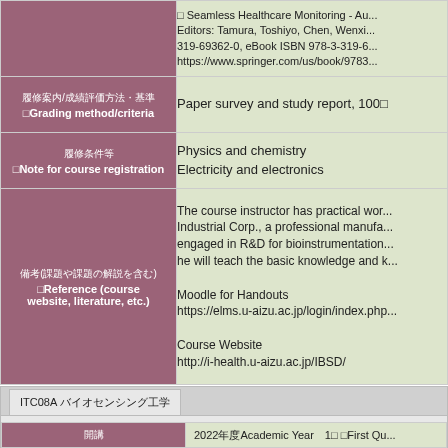| Category | Content |
| --- | --- |
| (partial top) | □ Seamless Healthcare Monitoring - Au... Editors: Tamura, Toshiyo, Chen, Wenxi... 319-69362-0, eBook ISBN 978-3-319-6... https://www.springer.com/us/book/9783... |
| 履修案内/Grading method/criteria | Paper survey and study report, 100□ |
| 履修条件/Note for course registration | Physics and chemistry
Electricity and electronics |
| 備考(課題や課題の解説を含む)/Reference (course website, literature, etc.) | The course instructor has practical wor... Industrial Corp., a professional manufa... engaged in R&D for bioinstrumentation... he will teach the basic knowledge and ...

Moodle for Handouts
https://elms.u-aizu.ac.jp/login/index.php...

Course Website
http://i-health.u-aizu.ac.jp/IBSD/ |
ITC08A バイオセンシング工学
| Category | Content |
| --- | --- |
| 開講 | 2022年度Academic Year　1□ □First Qu... |